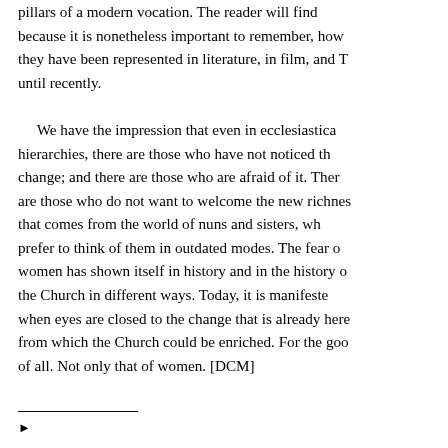pillars of a modern vocation. The reader will find because it is nonetheless important to remember, how they have been represented in literature, in film, and T until recently.
We have the impression that even in ecclesiastica hierarchies, there are those who have not noticed th change; and there are those who are afraid of it. Ther are those who do not want to welcome the new richnes that comes from the world of nuns and sisters, wh prefer to think of them in outdated modes. The fear o women has shown itself in history and in the history o the Church in different ways. Today, it is manifeste when eyes are closed to the change that is already here from which the Church could be enriched. For the goo of all. Not only that of women. [DCM]
▶ ...